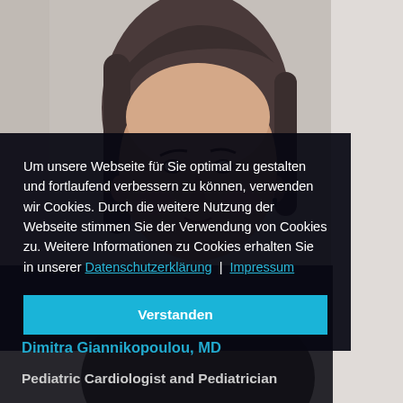[Figure (photo): Headshot photo of a woman with dark gray hair, smiling slightly, wearing dark clothing, on a light gray background.]
Um unsere Webseite für Sie optimal zu gestalten und fortlaufend verbessern zu können, verwenden wir Cookies. Durch die weitere Nutzung der Webseite stimmen Sie der Verwendung von Cookies zu. Weitere Informationen zu Cookies erhalten Sie in unserer Datenschutzerklärung | Impressum
Verstanden
Dimitra Giannikopoulou, MD
Pediatric Cardiologist and Pediatrician